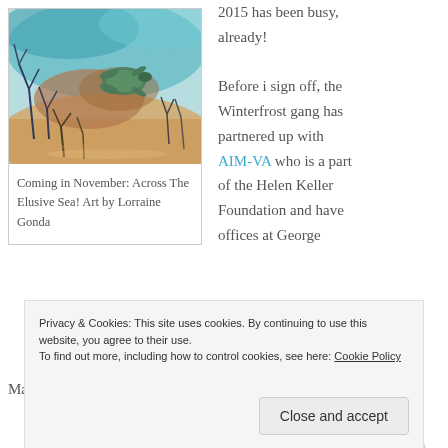[Figure (illustration): Painting of an underwater/coastal sea scene with a sea turtle, coral, and marine plants in teal, brown, and yellow tones.]
Coming in November: Across The Elusive Sea! Art by Lorraine Gonda
2015 has been busy, already!
Before i sign off, the Winterfrost gang has partnered up with AIM-VA who is a part of the Helen Keller Foundation and have offices at George Mason University. AIM is the acronym for Assistive
Privacy & Cookies: This site uses cookies. By continuing to use this website, you agree to their use.
To find out more, including how to control cookies, see here: Cookie Policy